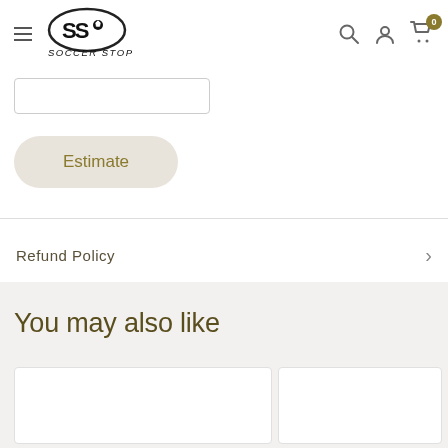Soccer Stop - navigation header with logo, search, account, and cart
[Figure (screenshot): Input text field for zip/postal code entry]
[Figure (screenshot): Estimate shipping button with rounded corners]
Refund Policy
You may also like
[Figure (screenshot): Product card placeholder (left)]
[Figure (screenshot): Product card placeholder (right, partially visible)]